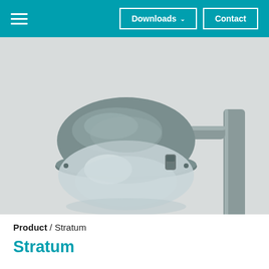Downloads | Contact
[Figure (photo): A grey street luminaire (Stratum model) mounted on a pole, with a dome-shaped top housing and clear globe diffuser, shown on a light grey background.]
Product / Stratum
Stratum